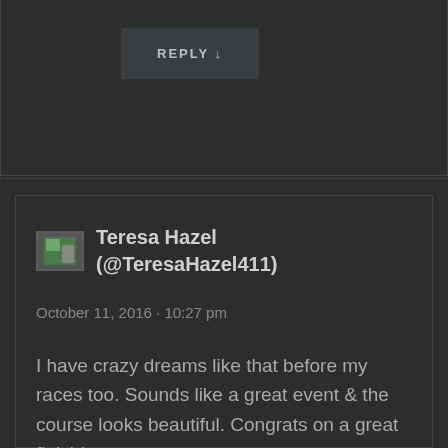REPLY ↓
Teresa Hazel (@TeresaHazel411)
October 11, 2016 · 10:27 pm
I have crazy dreams like that before my races too. Sounds like a great event & the course looks beautiful. Congrats on a great finish!